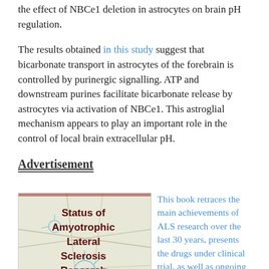the effect of NBCe1 deletion in astrocytes on brain pH regulation.
The results obtained in this study suggest that bicarbonate transport in astrocytes of the forebrain is controlled by purinergic signalling. ATP and downstream purines facilitate bicarbonate release by astrocytes via activation of NBCe1. This astroglial mechanism appears to play an important role in the control of local brain extracellular pH.
Advertisement
[Figure (illustration): Book cover image for 'Status of Amyotrophic Lateral Sclerosis Research' showing a stylized neural network map background with dark red title text]
This book retraces the main achievements of ALS research over the last 30 years, presents the drugs under clinical trial, as well as ongoing research on